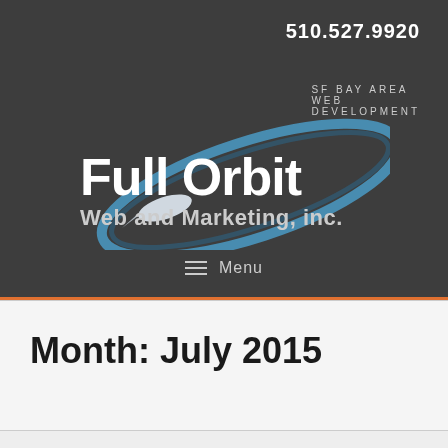510.527.9920
SF BAY AREA WEB DEVELOPMENT
[Figure (logo): Full Orbit Web and Marketing, inc. logo with orbital ring and rocket/fish graphic]
≡  Menu
Month: July 2015